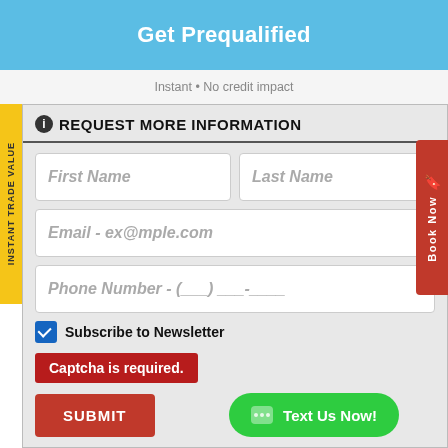Get Prequalified
Instant • No credit impact
REQUEST MORE INFORMATION
First Name
Last Name
Email - ex@mple.com
Phone Number - (___) ___-____
Subscribe to Newsletter
Captcha is required.
SUBMIT
Text Us Now!